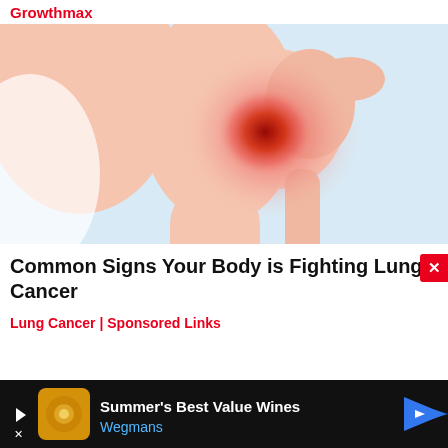Growthmax
[Figure (illustration): Medical illustration of a human shoulder joint with a glowing red inflamed area at the joint, shown against a light blue background. The arm and shoulder anatomy is depicted in pinkish-skin tones with detailed musculature.]
Common Signs Your Body is Fighting Lung Cancer
Lung Cancer | Sponsored Links
[Figure (infographic): Advertisement banner with black background. Left side shows a triangular play button and an X skip button. Center shows a square icon with a yellow/orange decorative pattern. Text reads 'Summer's Best Value Wines' in white and 'Wegmans' in blue. Right side shows a blue diamond-shaped arrow navigation icon.]